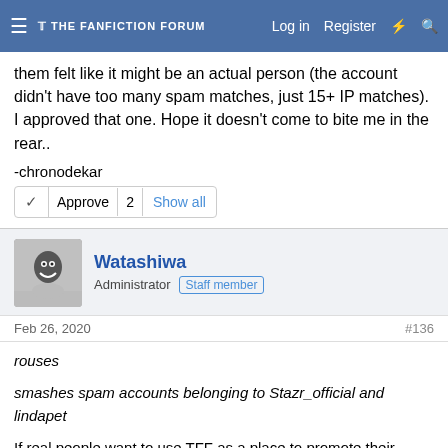THE FANFICTION FORUM | Log in | Register
them felt like it might be an actual person (the account didn't have too many spam matches, just 15+ IP matches). I approved that one. Hope it doesn't come to bite me in the rear..
-chronodekar
Approve 2 Show all
Watashiwa
Administrator | Staff member
Feb 26, 2020 #136
rouses
smashes spam accounts belonging to Stazr_official and lindapet
If real people want to use TFF as a place to promote their works I welcome them. If they want to use it as a SEO dumping ground they can take a hike. Please let me know when both kinds of